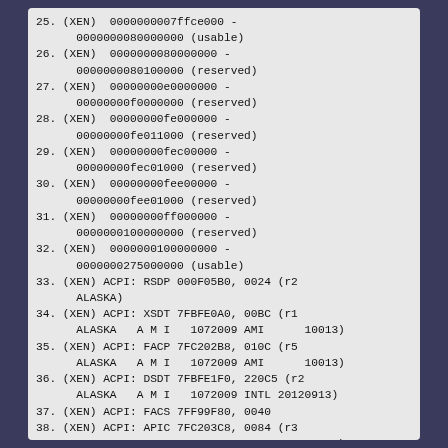25. (XEN)  0000000007ffce000 -
      0000000080000000 (usable)
26. (XEN)  0000000080000000 -
      0000000080100000 (reserved)
27. (XEN)  00000000e0000000 -
      00000000f0000000 (reserved)
28. (XEN)  00000000fe000000 -
      00000000fe011000 (reserved)
29. (XEN)  00000000fec00000 -
      00000000fec01000 (reserved)
30. (XEN)  00000000fee00000 -
      00000000fee01000 (reserved)
31. (XEN)  00000000ff000000 -
      0000000100000000 (reserved)
32. (XEN)  0000000100000000 -
      0000000275000000 (usable)
33. (XEN) ACPI: RSDP 000F05B0, 0024 (r2
      ALASKA)
34. (XEN) ACPI: XSDT 7FBFE0A0, 00BC (r1
      ALASKA   A M I   1072009 AMI      10013)
35. (XEN) ACPI: FACP 7FC202B8, 010C (r5
      ALASKA   A M I   1072009 AMI      10013)
36. (XEN) ACPI: DSDT 7FBFE1F0, 220C5 (r2
      ALASKA   A M I   1072009 INTL 20120913)
37. (XEN) ACPI: FACS 7FF99F80, 0040
38. (XEN) ACPI: APIC 7FC203C8, 0084 (r3
      ALASKA   A M I   1072009 AMI      10013)
39. (XEN) ACPI: FPDT 7FC20450, 0044 (r1